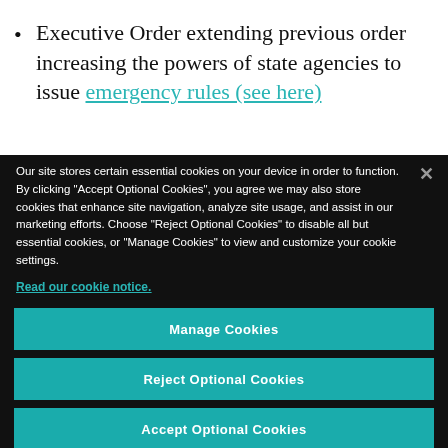Executive Order extending previous order increasing the powers of state agencies to issue emergency rules (see here)
Our site stores certain essential cookies on your device in order to function. By clicking “Accept Optional Cookies”, you agree we may also store cookies that enhance site navigation, analyze site usage, and assist in our marketing efforts. Choose “Reject Optional Cookies” to disable all but essential cookies, or “Manage Cookies” to view and customize your cookie settings.
Read our cookie notice.
Manage Cookies
Reject Optional Cookies
Accept Optional Cookies